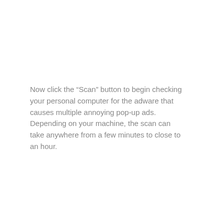Now click the “Scan” button to begin checking your personal computer for the adware that causes multiple annoying pop-up ads. Depending on your machine, the scan can take anywhere from a few minutes to close to an hour.